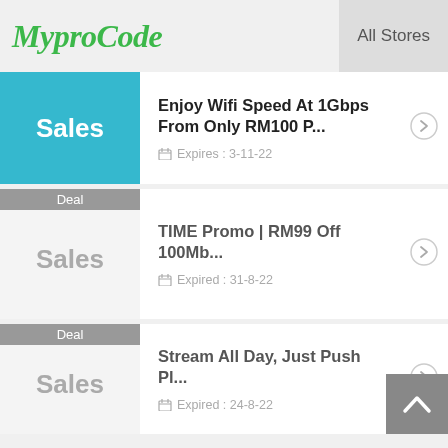MyproCode  All Stores
Enjoy Wifi Speed At 1Gbps From Only RM100 Per... | Sales | Expires : 3-11-22
TIME Promo | RM99 Off 100Mb... | Deal | Sales | Expired : 31-8-22
Stream All Day, Just Push Pl... | Deal | Sales | Expired : 24-8-22